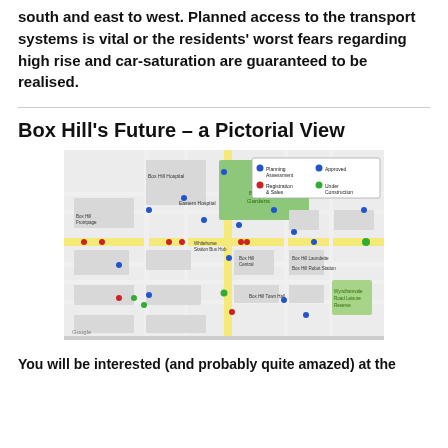south and east to west. Planned access to the transport systems is vital or the residents' worst fears regarding high rise and car-saturation are guaranteed to be realised.
Box Hill's Future – a Pictorial View
[Figure (map): Google Maps view of Box Hill area showing planning assessment, registration & sales, approved, and under construction markers (pins) across the street network. Key landmarks include Box Hill Hospital, Eastern Hospital, Box Hill Gardens, Whitehorse Station Bus Hub, Box Hill Locked Station, Box Hill Town Hall, Box Hill Central, Wyndhamvale Road Leisure Reserve. Legend shows blue pin = Planning Assessment, red pin = Registration & Sales, dark blue pin = Approved, green pin = Under Construction.]
You will be interested (and probably quite amazed) at the